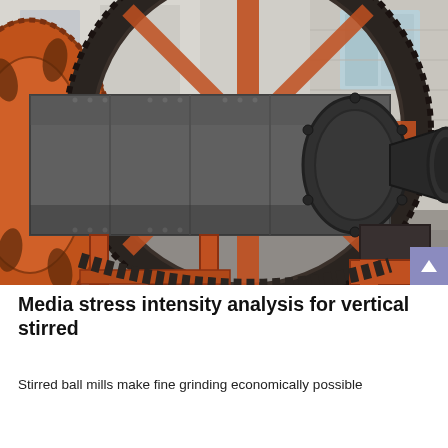[Figure (photo): Industrial ball mill with large orange/rust-colored gear ring, dark cylindrical drum with riveted joints, and a conical discharge opening on the right. The heavy machinery is mounted on a metal stand in an industrial yard with concrete block wall in background.]
Media stress intensity analysis for vertical stirred
Stirred ball mills make fine grinding economically possible